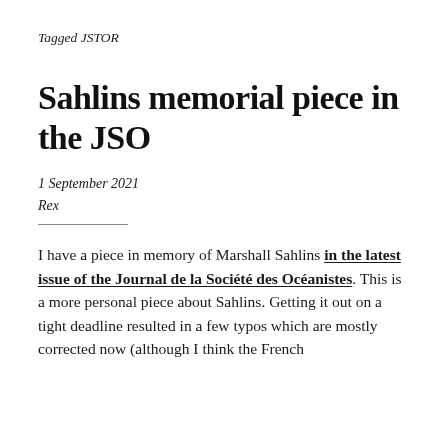Tagged JSTOR
Sahlins memorial piece in the JSO
1 September 2021
Rex
I have a piece in memory of Marshall Sahlins in the latest issue of the Journal de la Société des Océanistes. This is a more personal piece about Sahlins. Getting it out on a tight deadline resulted in a few typos which are mostly corrected now (although I think the French